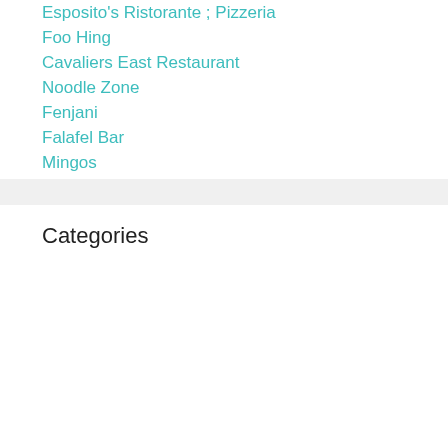Esposito's Ristorante ; Pizzeria
Foo Hing
Cavaliers East Restaurant
Noodle Zone
Fenjani
Falafel Bar
Mingos
Categories